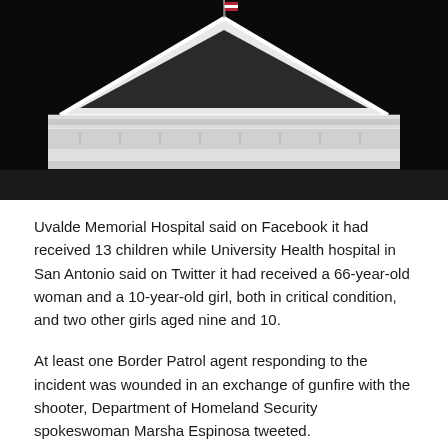[Figure (photo): Nighttime photograph of the White House portico, showing the triangular pediment frontispiece lit up against a black sky, with an American flag barely visible at the top center.]
Uvalde Memorial Hospital said on Facebook it had received 13 children while University Health hospital in San Antonio said on Twitter it had received a 66-year-old woman and a 10-year-old girl, both in critical condition, and two other girls aged nine and 10.
At least one Border Patrol agent responding to the incident was wounded in an exchange of gunfire with the shooter, Department of Homeland Security spokeswoman Marsha Espinosa tweeted.